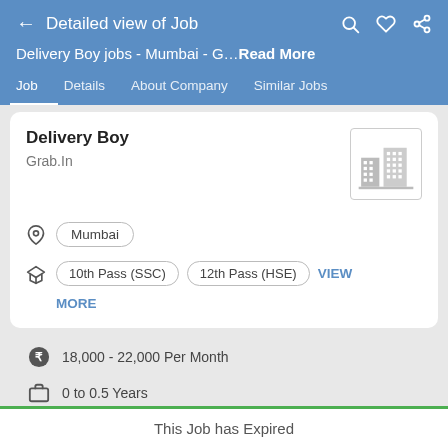← Detailed view of Job
Delivery Boy jobs - Mumbai - G…Read More
Job | Details | About Company | Similar Jobs
Delivery Boy
Grab.In
Mumbai
10th Pass (SSC)   12th Pass (HSE)   VIEW MORE
18,000 - 22,000 Per Month
0 to 0.5 Years
This Job has Expired